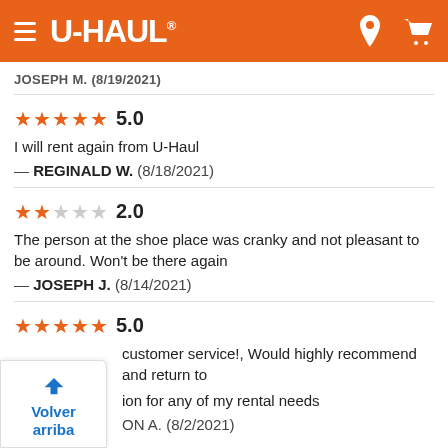U-HAUL
JOSEPH M.  (8/19/2021)
★★★★★ 5.0
I will rent again from U-Haul
— REGINALD W.  (8/18/2021)
★★☆☆☆ 2.0
The person at the shoe place was cranky and not pleasant to be around. Won't be there again
— JOSEPH J.  (8/14/2021)
★★★★★ 5.0
...customer service!, Would highly recommend and return to ...ion for any of my rental needs
— ...ON A.  (8/2/2021)
Volver arriba